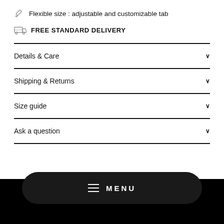✏ Flexible size : adjustable and customizable tab
🚚 FREE STANDARD DELIVERY
Details & Care
Shipping & Returns
Size guide
Ask a question
≡ MENU